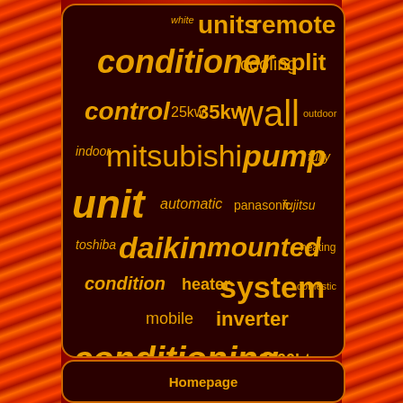[Figure (infographic): Word cloud with air conditioning related terms on a dark maroon background with flame border. Words include: units, remote, white, conditioner, cooling, split, control, 25kw, 35kw, wall, outdoor, indoor, mitsubishi, pump, fully, unit, automatic, panasonic, fujitsu, toshiba, daikin, mounted, heating, condition, heater, system, domestic, mobile, inverter, conditioning, 9000btu, machine, cooler, heat, portable]
Homepage